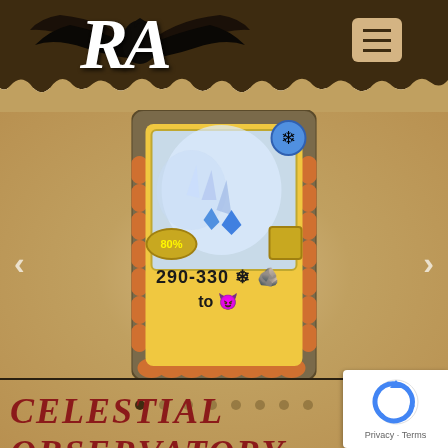RA
[Figure (screenshot): Game card showing ice/crystal attack: 80% badge, damage 290-330 with ice snowflake and earth icons, targeting fire demon icon. Card has golden frame with decorative border.]
[Figure (other): Carousel navigation dots, 8 dots total with first dot active]
Celestial Observatory
[Figure (logo): Google reCAPTCHA badge with Privacy and Terms links]